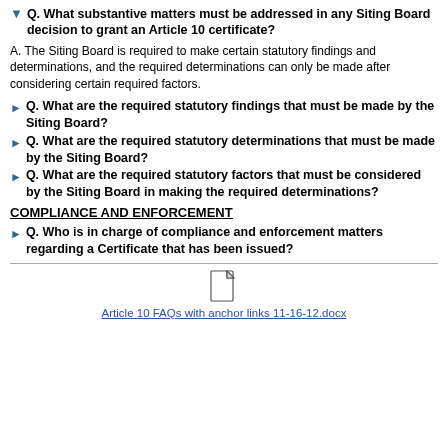Q. What substantive matters must be addressed in any Siting Board decision to grant an Article 10 certificate?
A. The Siting Board is required to make certain statutory findings and determinations, and the required determinations can only be made after considering certain required factors.
Q. What are the required statutory findings that must be made by the Siting Board?
Q. What are the required statutory determinations that must be made by the Siting Board?
Q. What are the required statutory factors that must be considered by the Siting Board in making the required determinations?
COMPLIANCE AND ENFORCEMENT
Q. Who is in charge of compliance and enforcement matters regarding a Certificate that has been issued?
Article 10 FAQs with anchor links 11-16-12.docx